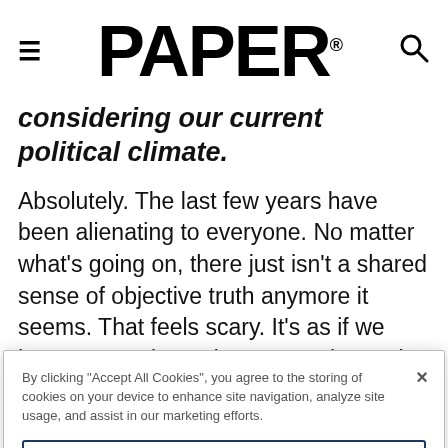PAPER®
considering our current political climate.
Absolutely. The last few years have been alienating to everyone. No matter what's going on, there just isn't a shared sense of objective truth anymore it seems. That feels scary. It's as if we have no starting point as a society. Why
By clicking "Accept All Cookies", you agree to the storing of cookies on your device to enhance site navigation, analyze site usage, and assist in our marketing efforts.
Cookies Settings
Reject All
Accept All Cookies